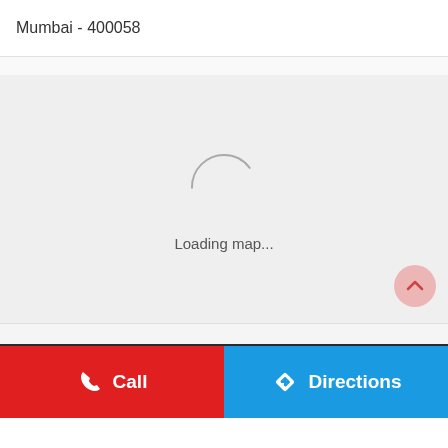Mumbai - 400058
[Figure (screenshot): A map loading placeholder area showing a spinner arc and 'Loading map...' text, with a pink circular scroll-up button in the bottom right.]
Loading map...
[Figure (other): Bottom navigation bar with red 'Call' button (phone icon) on the left and blue 'Directions' button (navigation diamond icon) on the right.]